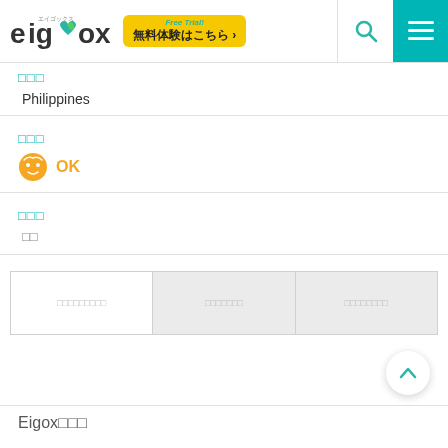eigox Free Trial! 無料体験はこちら ›
□□□
Philippines
□□□
OK
□□□
□□
□□□□□□□□□　□□□□□□□　□□□□□□□□
Eigox□□□